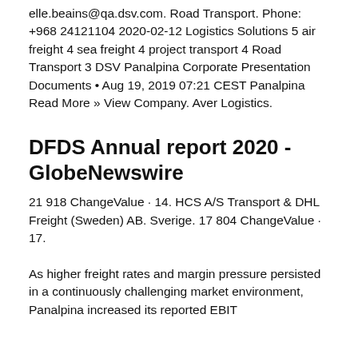elle.beains@qa.dsv.com. Road Transport. Phone: +968 24121104 2020-02-12 Logistics Solutions 5 air freight 4 sea freight 4 project transport 4 Road Transport 3 DSV Panalpina Corporate Presentation Documents • Aug 19, 2019 07:21 CEST Panalpina Read More » View Company. Aver Logistics.
DFDS Annual report 2020 - GlobeNewswire
21 918 ChangeValue · 14. HCS A/S Transport & DHL Freight (Sweden) AB. Sverige. 17 804 ChangeValue · 17.
As higher freight rates and margin pressure persisted in a continuously challenging market environment, Panalpina increased its reported EBIT